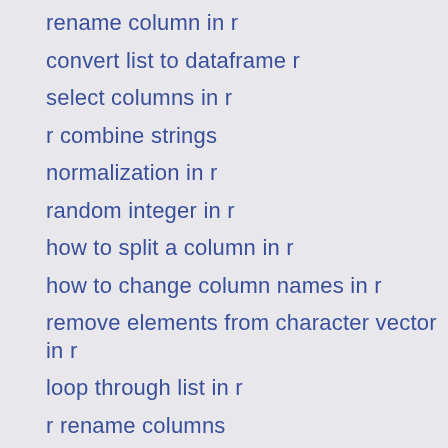rename column in r
convert list to dataframe r
select columns in r
r combine strings
normalization in r
random integer in r
how to split a column in r
how to change column names in r
remove elements from character vector in r
loop through list in r
r rename columns
how to count the number of NA in r
R, how to count missing values in a column
how to title plot in r